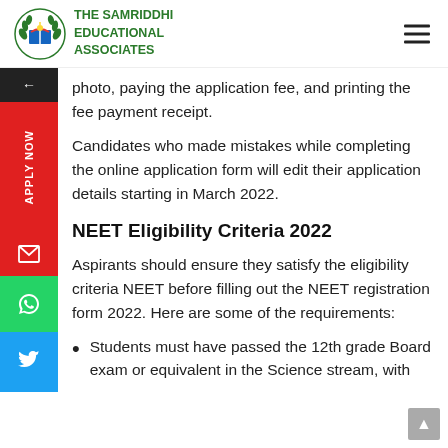THE SAMRIDDHI EDUCATIONAL ASSOCIATES
photo, paying the application fee, and printing the fee payment receipt.
Candidates who made mistakes while completing the online application form will edit their application details starting in March 2022.
NEET Eligibility Criteria 2022
Aspirants should ensure they satisfy the eligibility criteria NEET before filling out the NEET registration form 2022. Here are some of the requirements:
Students must have passed the 12th grade Board exam or equivalent in the Science stream, with